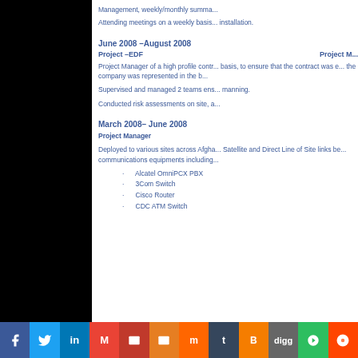Management, weekly/monthly summa...
Attending meetings on a weekly basis... installation.
June 2008 –August 2008
Project –EDF   Project M...
Project Manager of a high profile contr... the company was represented in the b...
Supervised and managed 2 teams ens... manning.
Conducted risk assessments on site, a...
March 2008– June 2008
Project Manager
Deployed to various sites across Afgha... communications equipments including...
Alcatel OmniPCX PBX
3Com Switch
Cisco Router
CDC ATM Switch